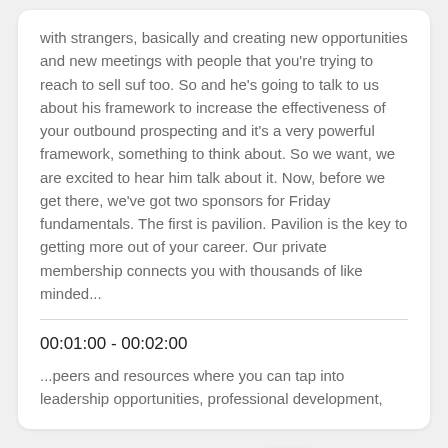with strangers, basically and creating new opportunities and new meetings with people that you're trying to reach to sell suf too. So and he's going to talk to us about his framework to increase the effectiveness of your outbound prospecting and it's a very powerful framework, something to think about. So we want, we are excited to hear him talk about it. Now, before we get there, we've got two sponsors for Friday fundamentals. The first is pavilion. Pavilion is the key to getting more out of your career. Our private membership connects you with thousands of like minded...
00:01:00 - 00:02:00
...peers and resources where you can tap into leadership opportunities, professional development,
In-Stream Audio Search
NEW